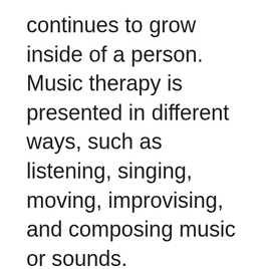continues to grow inside of a person. Music therapy is presented in different ways, such as listening, singing, moving, improvising, and composing music or sounds.